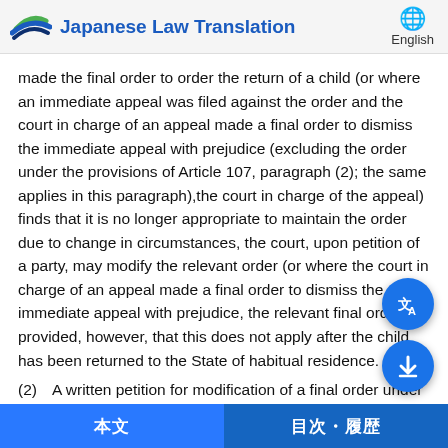Japanese Law Translation | English
made the final order to order the return of a child (or where an immediate appeal was filed against the order and the court in charge of an appeal made a final order to dismiss the immediate appeal with prejudice (excluding the order under the provisions of Article 107, paragraph (2); the same applies in this paragraph),the court in charge of the appeal) finds that it is no longer appropriate to maintain the order due to change in circumstances, the court, upon petition of a party, may modify the relevant order (or where the court in charge of an appeal made a final order to dismiss the immediate appeal with prejudice, the relevant final order); provided, however, that this does not apply after the child has been returned to the State of habitual residence.
(2)   A written petition for modification of a final order under the provisions of the preceding paragraph must state the following matters:
(i)    the parties and statutory agents;
(ii)   the indication of the final order to which modification is